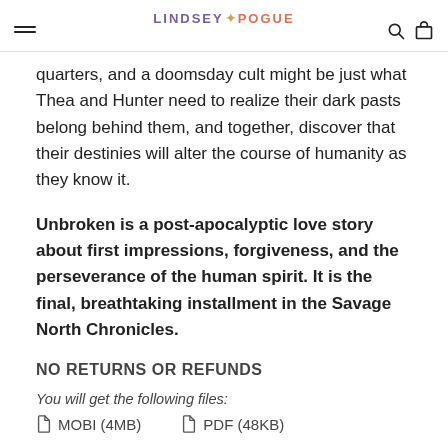LINDSEY ✦ POGUE
quarters, and a doomsday cult might be just what Thea and Hunter need to realize their dark pasts belong behind them, and together, discover that their destinies will alter the course of humanity as they know it.
Unbroken is a post-apocalyptic love story about first impressions, forgiveness, and the perseverance of the human spirit. It is the final, breathtaking installment in the Savage North Chronicles.
NO RETURNS OR REFUNDS
You will get the following files:
MOBI (4MB)
PDF (48KB)